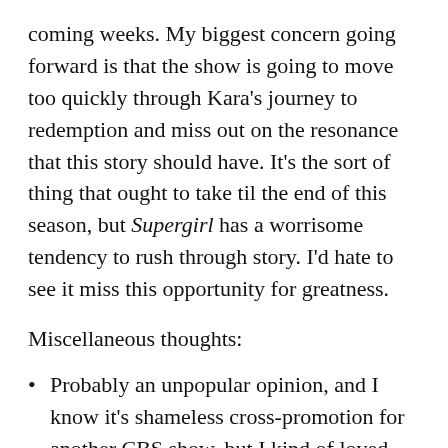coming weeks. My biggest concern going forward is that the show is going to move too quickly through Kara's journey to redemption and miss out on the resonance that this story should have. It's the sort of thing that ought to take til the end of this season, but Supergirl has a worrisome tendency to rush through story. I'd hate to see it miss this opportunity for greatness.
Miscellaneous thoughts:
Probably an unpopular opinion, and I know it's shameless cross-promotion for another CBS show, but I kind of loved Cat Grant's appearance on The Talk.
Is there any possible way that Cat really doesn't know that Kara is Supergirl? We're supposed to believe that Cat is highly intelligent and perceptive, so is there any chance that she doesn't